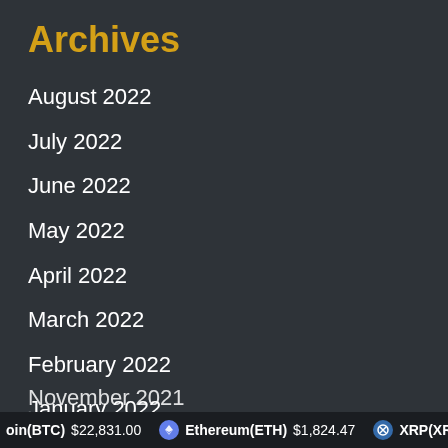Archives
August 2022
July 2022
June 2022
May 2022
April 2022
March 2022
February 2022
January 2022
December 2021
November 2021
Bitcoin(BTC) $22,831.00   Ethereum(ETH) $1,824.47   XRP(XRP)